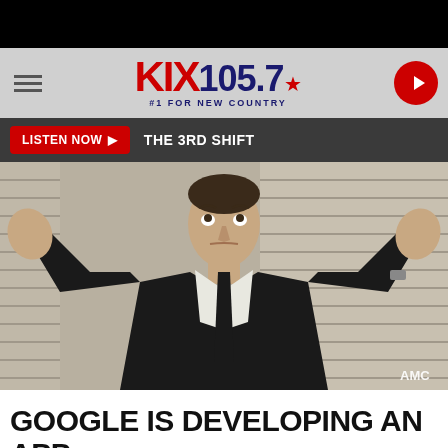[Figure (logo): KIX 105.7 radio station logo with tagline #1 FOR NEW COUNTRY]
LISTEN NOW ▶  THE 3RD SHIFT
[Figure (photo): Man in black suit with hands raised, shrugging expression, AMC watermark in bottom right]
GOOGLE IS DEVELOPING AN APP